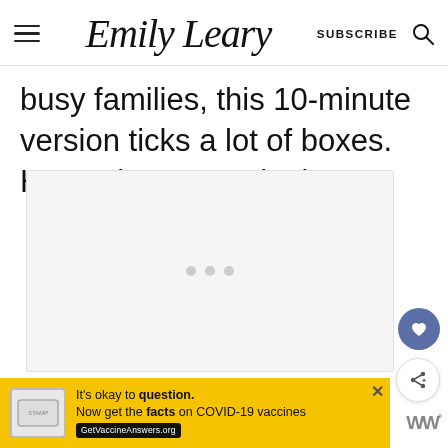Emily Leary — SUBSCRIBE
busy families, this 10-minute version ticks a lot of boxes. Here's how to make it.
[Figure (other): Advertisement placeholder area with three small grey dots in center]
[Figure (other): Yellow banner advertisement: It's okay to question. Now get the facts on COVID-19 vaccines. GetVaccineAnswers.org]